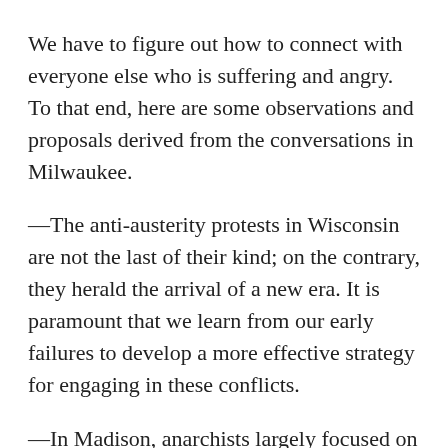We have to figure out how to connect with everyone else who is suffering and angry. To that end, here are some observations and proposals derived from the conversations in Milwaukee.
—The anti-austerity protests in Wisconsin are not the last of their kind; on the contrary, they herald the arrival of a new era. It is paramount that we learn from our early failures to develop a more effective strategy for engaging in these conflicts.
—In Madison, anarchists largely focused on establishing infrastructure for the occupation. This is not the first time anarchists have contributed their organizational skills to an essentially liberal protest. At the 2004 Republican National Convention in New